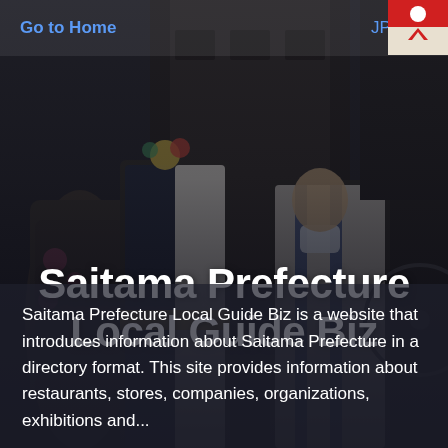[Figure (photo): Background photo of people in traditional Japanese festival attire (yukata/kimono) on a street, with dark overlay gradient. Top-right corner shows a small colorful decorative element.]
Go to Home   JP | EN
Saitama Prefecture Local Guide Biz
Saitama Prefecture Local Guide Biz is a website that introduces information about Saitama Prefecture in a directory format. This site provides information about restaurants, stores, companies, organizations, exhibitions and...